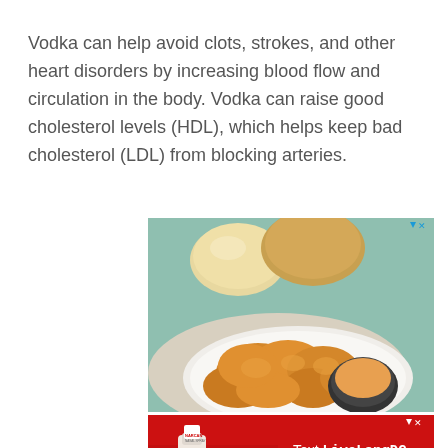Vodka can help avoid clots, strokes, and other heart disorders by increasing blood flow and circulation in the body. Vodka can raise good cholesterol levels (HDL), which helps keep bad cholesterol (LDL) from blocking arteries.
[Figure (photo): Advertisement showing fried chicken pieces on a white plate with a small bowl of dipping sauce, and dinner rolls in the background on a teal surface. Small ad icon (triangle and X) in top right corner.]
[Figure (photo): Red advertisement banner for DC government naloxone campaign. Shows a hand holding a Narcan nasal spray. Text reads: Text LiveLongDC to 888-811 to find naloxone near you. Logos for LIVE LONG DC, DBH, and Government of the District of Columbia / Muriel Bowser Mayor at the bottom.]